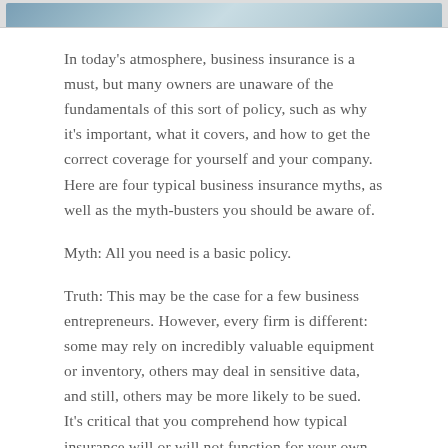[Figure (photo): Partial image strip at top of page showing what appears to be an outdoor or nature scene, cropped to show only the bottom portion]
In today's atmosphere, business insurance is a must, but many owners are unaware of the fundamentals of this sort of policy, such as why it's important, what it covers, and how to get the correct coverage for yourself and your company. Here are four typical business insurance myths, as well as the myth-busters you should be aware of.
Myth: All you need is a basic policy.
Truth: This may be the case for a few business entrepreneurs. However, every firm is different: some may rely on incredibly valuable equipment or inventory, others may deal in sensitive data, and still, others may be more likely to be sued. It's critical that you comprehend how typical insurance will or will not function for your own organization and situation. The next thought before fearing the cost, let